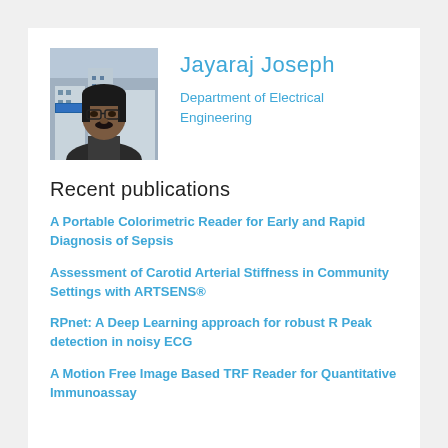[Figure (photo): Headshot photo of Jayaraj Joseph, a man with glasses and a mustache, outdoors with buildings in background]
Jayaraj Joseph
Department of Electrical Engineering
Recent publications
A Portable Colorimetric Reader for Early and Rapid Diagnosis of Sepsis
Assessment of Carotid Arterial Stiffness in Community Settings with ARTSENS®
RPnet: A Deep Learning approach for robust R Peak detection in noisy ECG
A Motion Free Image Based TRF Reader for Quantitative Immunoassay